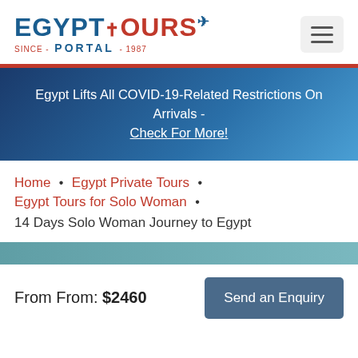[Figure (logo): Egypt Tours Portal logo with ankh symbol and airplane, since 1987]
Egypt Lifts All COVID-19-Related Restrictions On Arrivals - Check For More!
Home • Egypt Private Tours • Egypt Tours for Solo Woman • 14 Days Solo Woman Journey to Egypt
From From: $2460
Send an Enquiry